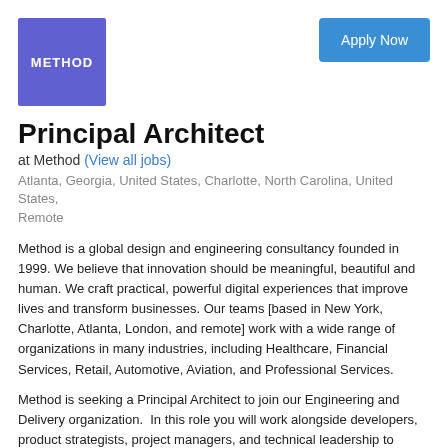[Figure (logo): Method company logo — white text 'METHOD' on a medium purple/indigo square background]
Apply Now
Principal Architect
at Method (View all jobs)
Atlanta, Georgia, United States, Charlotte, North Carolina, United States, Remote
Method is a global design and engineering consultancy founded in 1999. We believe that innovation should be meaningful, beautiful and human. We craft practical, powerful digital experiences that improve lives and transform businesses. Our teams [based in New York, Charlotte, Atlanta, London, and remote] work with a wide range of organizations in many industries, including Healthcare, Financial Services, Retail, Automotive, Aviation, and Professional Services.
Method is seeking a Principal Architect to join our Engineering and Delivery organization.  In this role you will work alongside developers, product strategists, project managers, and technical leadership to design and build complex solutions to our clients' needs. If you have experience